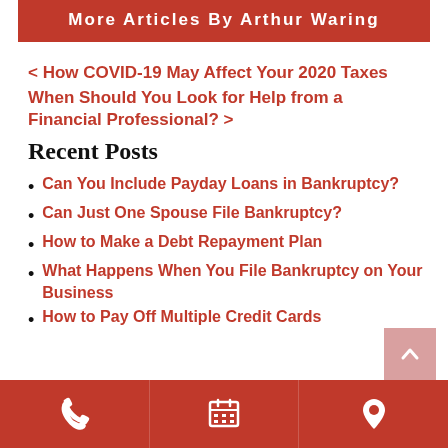More Articles By Arthur Waring
< How COVID-19 May Affect Your 2020 Taxes
When Should You Look for Help from a Financial Professional? >
Recent Posts
Can You Include Payday Loans in Bankruptcy?
Can Just One Spouse File Bankruptcy?
How to Make a Debt Repayment Plan
What Happens When You File Bankruptcy on Your Business
How to Pay Off Multiple Credit Cards
Phone | Schedule | Location